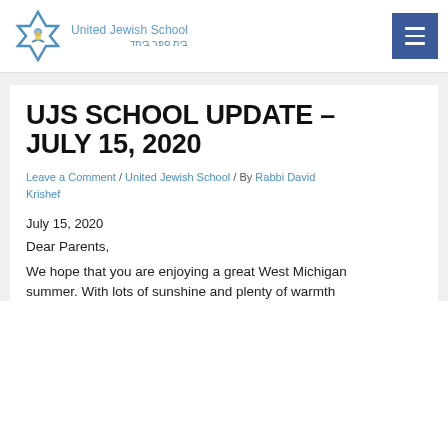[Figure (logo): United Jewish School logo with Star of David icon and text 'United Jewish School' and Hebrew text]
UJS SCHOOL UPDATE – JULY 15, 2020
Leave a Comment / United Jewish School / By Rabbi David Krishef
July 15, 2020
Dear Parents,
We hope that you are enjoying a great West Michigan summer. With lots of sunshine and plenty of warmth